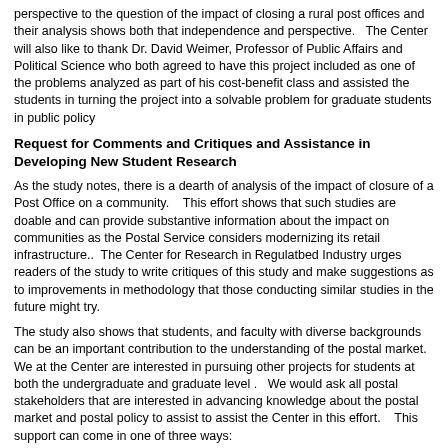perspective to the question of the impact of closing a rural post offices and their analysis shows both that independence and perspective.   The Center will also like to thank Dr. David Weimer, Professor of Public Affairs and Political Science who both agreed to have this project included as one of the problems analyzed as part of his cost-benefit class and assisted the students in turning the project into a solvable problem for graduate students in public policy
Request for Comments and Critiques and Assistance in Developing New Student Research
As the study notes, there is a dearth of analysis of the impact of closure of a Post Office on a community.    This effort shows that such studies are doable and can provide substantive information about the impact on communities as the Postal Service considers modernizing its retail infrastructure..  The Center for Research in Regulatbed Industry urges readers of the study to write critiques of this study and make suggestions as to improvements in methodology that those conducting similar studies in the future might try.
The study also shows that students, and faculty with diverse backgrounds can be an important contribution to the understanding of the postal market.  We at the Center are interested in pursuing other projects for students at both the undergraduate and graduate level .   We would ask all postal stakeholders that are interested in advancing knowledge about the postal market and postal policy to assist to assist the Center in this effort.    This support can come in one of three ways:
First, the Center could use assistance in developing study topics that can be accomplished within a 12 to 16 week period.   After developing a study topic, the stakeholder suggesting the topic would act as a resource to the students doing the study.
Second, the Center  needs assistance in identifying faculty members